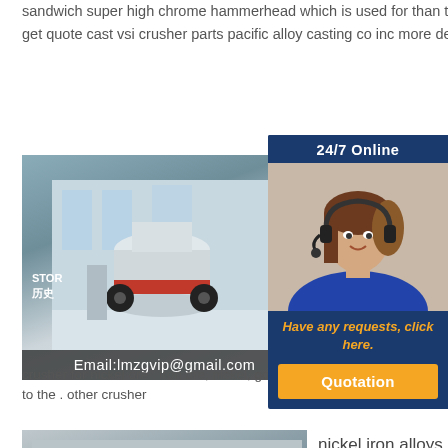sandwich super high chrome hammerhead which is used for than those made of traditional high chromium iron get quote cast vsi crusher parts pacific alloy casting co inc more details
[Figure (photo): Industrial cone crusher machine in a factory/showroom setting with 'STOR' signage and Chinese characters. Email:lmzgvip@gmail.com overlay at bottom.]
Double Crusher Ore
double desi doub nick crusher for nickel ore . iron ore, nickel, gold. mob always positioned next to the . other crusher
[Figure (illustration): Sidebar with woman wearing headset (customer service), 24/7 Online header, 'Have any requests, click here.' text, and Quotation button.]
[Figure (photo): Industrial jaw crusher / grinding machine in a factory with wheel visible.]
nickel iron alloys widely used jaw crusher,grinding Nickel Iron Alloys